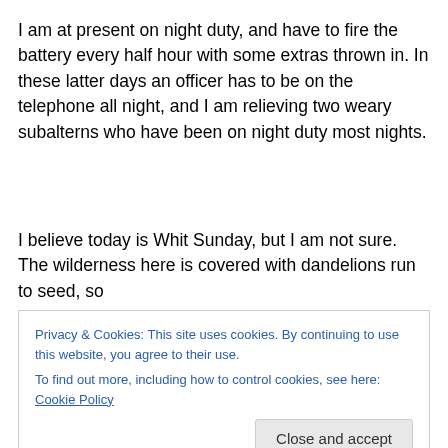I am at present on night duty, and have to fire the battery every half hour with some extras thrown in. In these latter days an officer has to be on the telephone all night, and I am relieving two weary subalterns who have been on night duty most nights.
I believe today is Whit Sunday, but I am not sure. The wilderness here is covered with dandelions run to seed, so
Privacy & Cookies: This site uses cookies. By continuing to use this website, you agree to their use.
To find out more, including how to control cookies, see here: Cookie Policy
But the weather is at present perfectly lovely, and I am